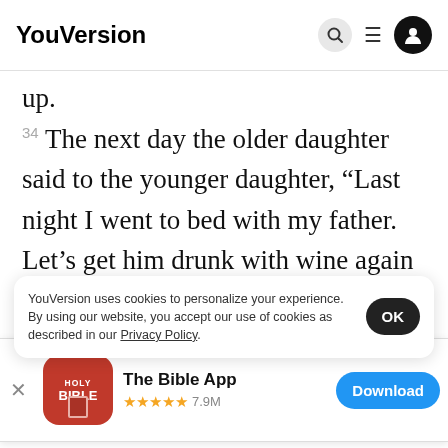YouVersion
up.
34 The next day the older daughter said to the younger daughter, “Last night I went to bed with my father. Let’s get him drunk with wine again tonight. Then you can go and have sex with him. In this
[Figure (screenshot): App store banner for The Bible App with Holy Bible icon, 5 stars rating, 7.9M reviews, and Download button]
the two
the you
YouVersion uses cookies to personalize your experience. By using our website, you accept our use of cookies as described in our Privacy Policy.
Home  Bible  Plans  Videos